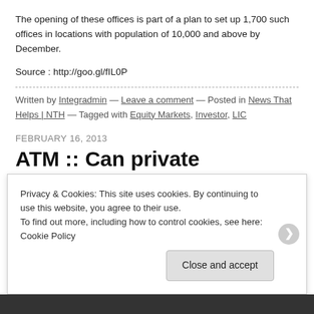The opening of these offices is part of a plan to set up 1,700 such offices in locations with population of 10,000 and above by December.
Source : http://goo.gl/fIL0P
Written by Integradmin — Leave a comment — Posted in News That Helps | NTH — Tagged with Equity Markets, Investor, LIC
FEBRUARY 16, 2013
ATM :: Can private insurance firms be trusted?
Deepti Bhaskaran
First Published: Wed, Feb 20 2014, 10:30 AM IST, LIVE MINT
Privacy & Cookies: This site uses cookies. By continuing to use this website, you agree to their use.
To find out more, including how to control cookies, see here: Cookie Policy
Close and accept